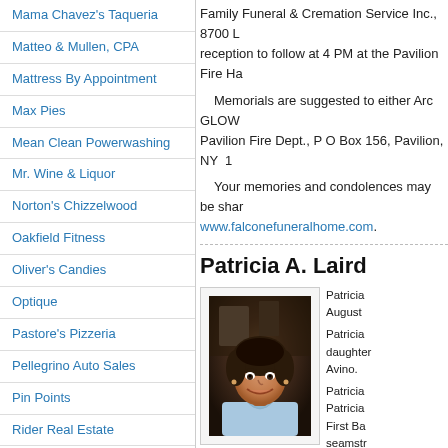Mama Chavez's Taqueria
Matteo & Mullen, CPA
Mattress By Appointment
Max Pies
Mean Clean Powerwashing
Mr. Wine & Liquor
Norton's Chizzelwood
Oakfield Fitness
Oliver's Candies
Optique
Pastore's Pizzeria
Pellegrino Auto Sales
Pin Points
Rider Real Estate
Rochester Regional Health – UMMC
Roman's
Sallome Heating & Cooling
Family Funeral & Cremation Service Inc., 8700 L... reception to follow at 4 PM at the Pavilion Fire Ha...
Memorials are suggested to either Arc GLOW... Pavilion Fire Dept., P O Box 156, Pavilion, NY 1...
Your memories and condolences may be shar... www.falconefuneralhome.com.
Patricia A. Laird
[Figure (photo): Portrait photo of Patricia A. Laird, a woman smiling, wearing a light blue shirt]
Patricia... August...
Patricia... daughter... Avino.
Patricia... Patricia... First Ba... seamstr... Tailors &...
Survivi... Sr.; chil...
Laird, Jr. and Kimberly (fiance Kenneth Drury) L...